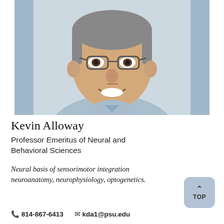[Figure (photo): Headshot photo of Kevin Alloway, a smiling older man with glasses, grey hair, wearing a light blue collared shirt, photographed outdoors in front of a building.]
Kevin Alloway
Professor Emeritus of Neural and Behavioral Sciences
Neural basis of sensorimotor integration neuroanatomy, neurophysiology, optogenetics.
📞 814-867-6413   ✉ kda1@psu.edu